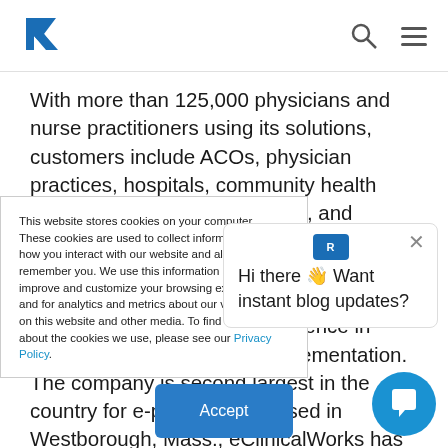Navigation bar with logo and search/menu icons
With more than 125,000 physicians and nurse practitioners using its solutions, customers include ACOs, physician practices, hospitals, community health centers, departments of health, and convenient care clinics. During the past eight years, 16 eClinicalWorks customers have received the prestigious HIMSS Davies Award, honoring excellence in Electronic Health Record implementation. The company is second largest in the country for e-prescribing. Based in Westborough, Mass., eClinicalWorks has additional offices in Austin, New York City, Chicago, California,
This website stores cookies on your computer. These cookies are used to collect information about how you interact with our website and allow us to remember you. We use this information in order to improve and customize your browsing experience and for analytics and metrics about our visitors both on this website and other media. To find out more about the cookies we use, please see our Privacy Policy.
Hi there 👋 Want instant blog updates?
Accept